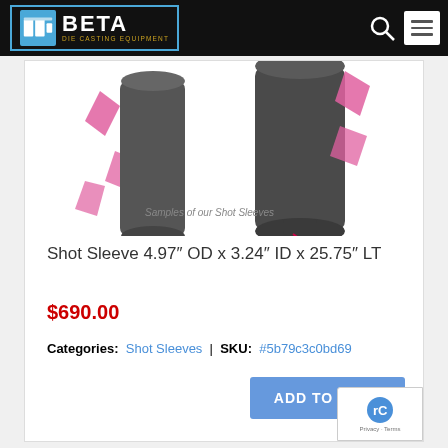[Figure (logo): Beta Die Casting Equipment logo with blue border, machinery icon, bold white BETA text, and gold subtitle 'DIE CASTING EQUIPMENT']
[Figure (photo): Photo of shot sleeves samples — dark cylindrical metal parts with pink/magenta tags, caption reads 'Samples of our Shot Sleeves']
Shot Sleeve 4.97″ OD x 3.24″ ID x 25.75″ LT
$690.00
Categories: Shot Sleeves | SKU: #5b79c3c0bd69
[Figure (screenshot): ADD TO CART button (blue/cornflower) and reCAPTCHA badge at bottom-right]